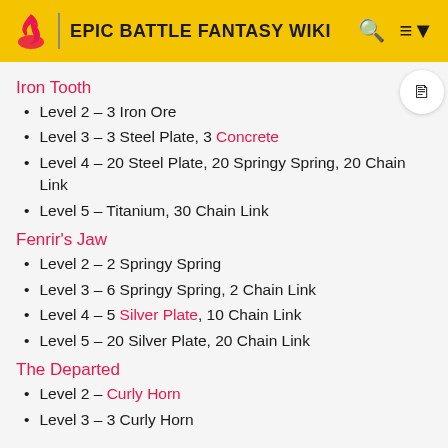EPIC BATTLE FANTASY WIKI
Iron Tooth
Level 2 – 3 Iron Ore
Level 3 – 3 Steel Plate, 3 Concrete
Level 4 – 20 Steel Plate, 20 Springy Spring, 20 Chain Link
Level 5 – Titanium, 30 Chain Link
Fenrir's Jaw
Level 2 – 2 Springy Spring
Level 3 – 6 Springy Spring, 2 Chain Link
Level 4 – 5 Silver Plate, 10 Chain Link
Level 5 – 20 Silver Plate, 20 Chain Link
The Departed
Level 2 – Curly Horn
Level 3 – 3 Curly Horn